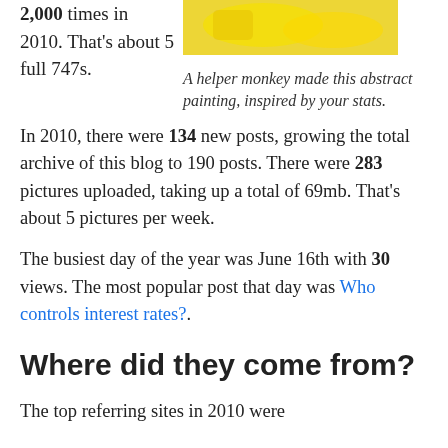2,000 times in 2010. That’s about 5 full 747s.
[Figure (illustration): Abstract painting with yellow tones, made by a helper monkey inspired by blog stats.]
A helper monkey made this abstract painting, inspired by your stats.
In 2010, there were 134 new posts, growing the total archive of this blog to 190 posts. There were 283 pictures uploaded, taking up a total of 69mb. That’s about 5 pictures per week.
The busiest day of the year was June 16th with 30 views. The most popular post that day was Who controls interest rates?.
Where did they come from?
The top referring sites in 2010 were